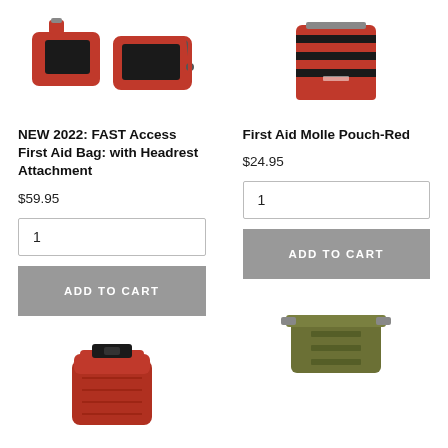[Figure (photo): Two red first aid bags with black handles/zippers shown from above]
[Figure (photo): Red and black First Aid Molle Pouch shown from above]
NEW 2022: FAST Access First Aid Bag: with Headrest Attachment
First Aid Molle Pouch-Red
$59.95
$24.95
1
1
ADD TO CART
ADD TO CART
[Figure (photo): Red roll-top dry bag with black buckle closure]
[Figure (photo): Olive/tan colored medical pouch with strap]